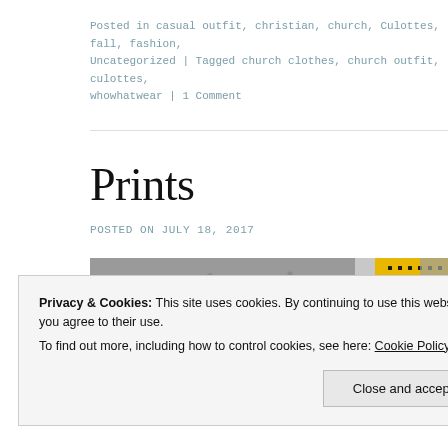Posted in casual outfit, christian, church, Culottes, fall, fashion, Uncategorized | Tagged church clothes, church outfit, culottes, whowhatwear | 1 Comment
Prints
POSTED ON JULY 18, 2017
[Figure (photo): Photo collage showing two images: left is an indoor ceiling scene with an exit sign in red, right shows a yellow metal grate/panel with black dot patterns]
Privacy & Cookies: This site uses cookies. By continuing to use this website, you agree to their use.
To find out more, including how to control cookies, see here: Cookie Policy
Close and accept